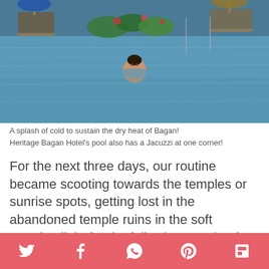[Figure (photo): A person swimming in an infinity pool at Heritage Bagan Hotel, with blue water, lounge chairs and tropical plants in the background.]
A splash of cold to sustain the dry heat of Bagan!
Heritage Bagan Hotel’s pool also has a Jacuzzi at one corner!
For the next three days, our routine became scooting towards the temples or sunrise spots, getting lost in the abandoned temple ruins in the soft morning light for the following couple of hours, and heading back to the Heritage Bagan Hotel for the sumptuous breakfast spread.
The pool awaited us with its charming azure w—r